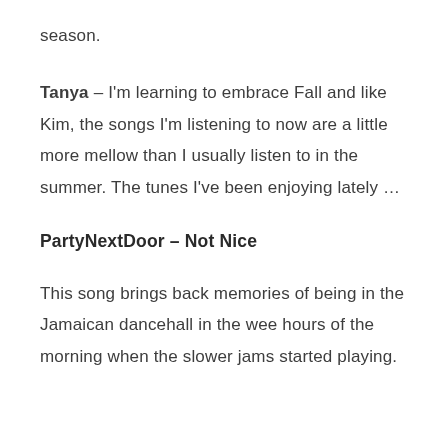season.
Tanya – I'm learning to embrace Fall and like Kim, the songs I'm listening to now are a little more mellow than I usually listen to in the summer. The tunes I've been enjoying lately …
PartyNextDoor – Not Nice
This song brings back memories of being in the Jamaican dancehall in the wee hours of the morning when the slower jams started playing.